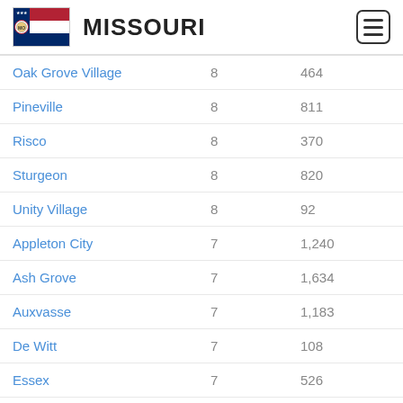MISSOURI
| City |  | Population |
| --- | --- | --- |
| Oak Grove Village | 8 | 464 |
| Pineville | 8 | 811 |
| Risco | 8 | 370 |
| Sturgeon | 8 | 820 |
| Unity Village | 8 | 92 |
| Appleton City | 7 | 1,240 |
| Ash Grove | 7 | 1,634 |
| Auxvasse | 7 | 1,183 |
| De Witt | 7 | 108 |
| Essex | 7 | 526 |